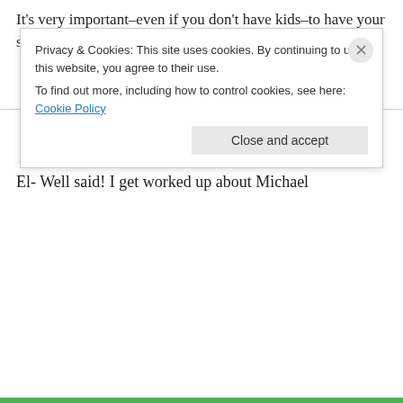It's very important–even if you don't have kids–to have your soil tested.
↪ Reply
Katrina on January 31, 2008 at 7:58 pm
El- Well said! I get worked up about Michael
Privacy & Cookies: This site uses cookies. By continuing to use this website, you agree to their use. To find out more, including how to control cookies, see here: Cookie Policy
Close and accept